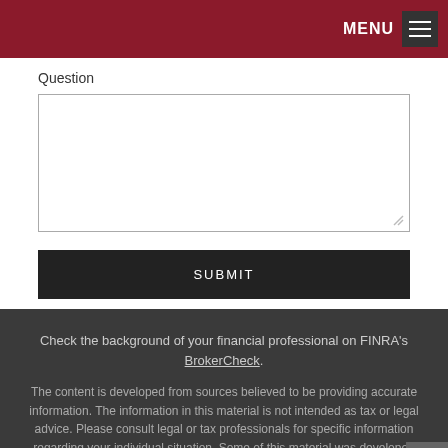MENU
Question
SUBMIT
Check the background of your financial professional on FINRA's BrokerCheck.
The content is developed from sources believed to be providing accurate information. The information in this material is not intended as tax or legal advice. Please consult legal or tax professionals for specific information regarding your individual situation. Some of this material was developed and